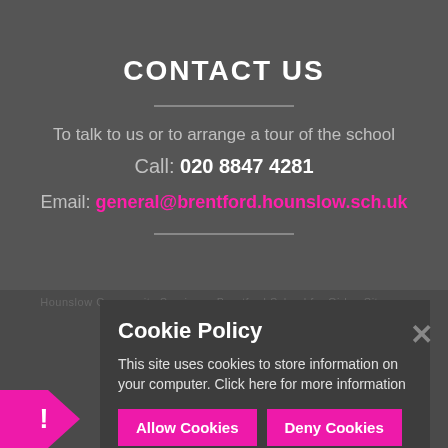CONTACT US
To talk to us or to arrange a tour of the school
Call: 020 8847 4281
Email: general@brentford.hounslow.sch.uk
Cookie Policy
This site uses cookies to store information on your computer. Click here for more information
Allow Cookies
Deny Cookies